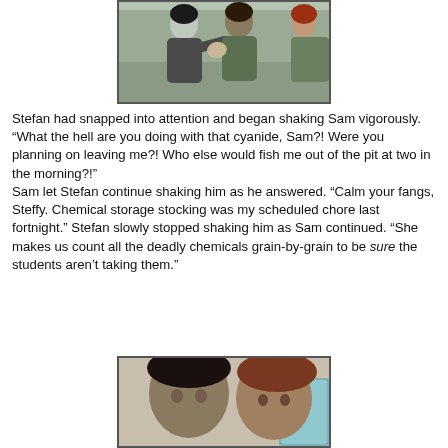[Figure (screenshot): Screenshot from a video game (The Sims) showing two dark-haired characters, one appearing to shake the other, with a red-haired character visible on the right.]
Stefan had snapped into attention and began shaking Sam vigorously. “What the hell are you doing with that cyanide, Sam?! Were you planning on leaving me?! Who else would fish me out of the pit at two in the morning?!"
Sam let Stefan continue shaking him as he answered. “Calm your fangs, Steffy. Chemical storage stocking was my scheduled chore last fortnight.” Stefan slowly stopped shaking him as Sam continued. “She makes us count all the deadly chemicals grain-by-grain to be sure the students aren’t taking them.”
[Figure (screenshot): Screenshot from a video game (The Sims) showing a close-up of two characters, one with dark hair and one with reddish-brown hair, facing each other.]